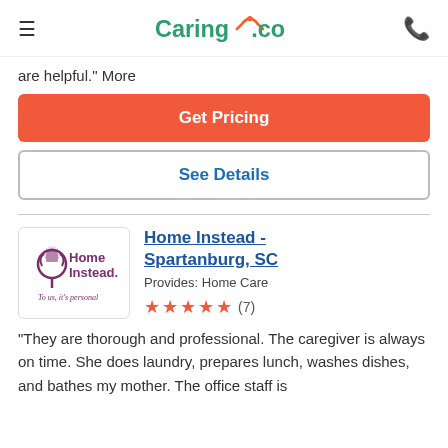Caring.com
are helpful." More
Get Pricing
See Details
[Figure (logo): Home Instead logo with tagline 'To us, it's personal']
Home Instead - Spartanburg, SC
Provides: Home Care
★★★★★ (7)
"They are thorough and professional. The caregiver is always on time. She does laundry, prepares lunch, washes dishes, and bathes my mother. The office staff is